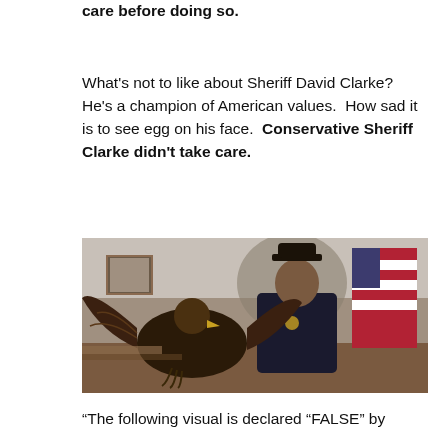care before doing so.
What's not to like about Sheriff David Clarke?  He's a champion of American values.  How sad it is to see egg on his face.  Conservative Sheriff Clarke didn't take care.
[Figure (photo): A person in a law enforcement uniform with a cowboy hat sits at a desk with hands folded, a large bird with spread wings in the foreground, an American flag and official seal visible in the background]
“The following visual is declared “FALSE” by